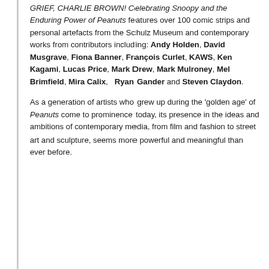GRIEF, CHARLIE BROWN! Celebrating Snoopy and the Enduring Power of Peanuts features over 100 comic strips and personal artefacts from the Schulz Museum and contemporary works from contributors including: Andy Holden, David Musgrave, Fiona Banner, François Curlet, KAWS, Ken Kagami, Lucas Price, Mark Drew, Mark Mulroney, Mel Brimfield, Mira Calix,  Ryan Gander and Steven Claydon.
As a generation of artists who grew up during the 'golden age' of Peanuts come to prominence today, its presence in the ideas and ambitions of contemporary media, from film and fashion to street art and sculpture, seems more powerful and meaningful than ever before.